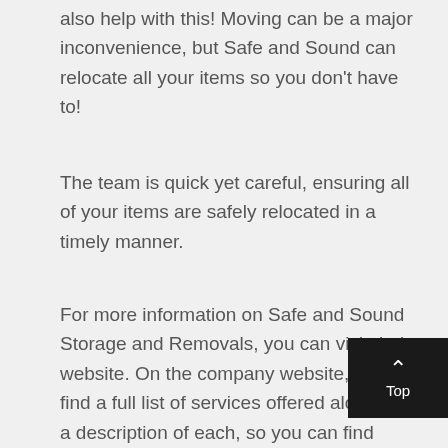also help with this! Moving can be a major inconvenience, but Safe and Sound can relocate all your items so you don't have to!
The team is quick yet careful, ensuring all of your items are safely relocated in a timely manner.
For more information on Safe and Sound Storage and Removals, you can visit their website. On the company website, you will find a full list of services offered along with a description of each, so you can find exactly what you are looking for.